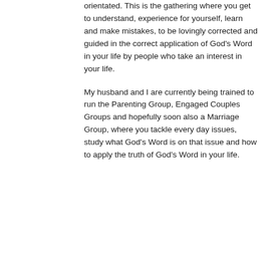orientated. This is the gathering where you get to understand, experience for yourself, learn and make mistakes, to be lovingly corrected and guided in the correct application of God's Word in your life by people who take an interest in your life.
My husband and I are currently being trained to run the Parenting Group, Engaged Couples Groups and hopefully soon also a Marriage Group, where you tackle every day issues, study what God's Word is on that issue and how to apply the truth of God's Word in your life.